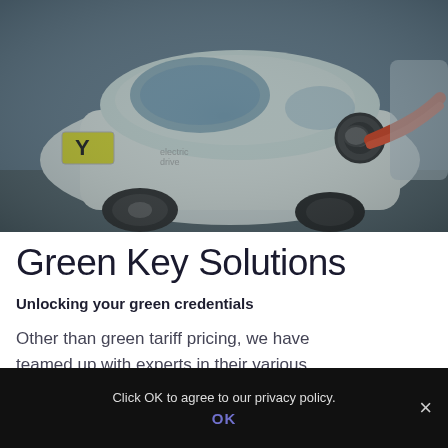[Figure (photo): A white Smart electric car being charged with an orange/red charging cable plugged into its port, photographed from the rear quarter angle. A yellow license plate with letter Y is visible on the left side.]
Green Key Solutions
Unlocking your green credentials
Other than green tariff pricing, we have teamed up with experts in their various
Click OK to agree to our privacy policy.
OK  ×